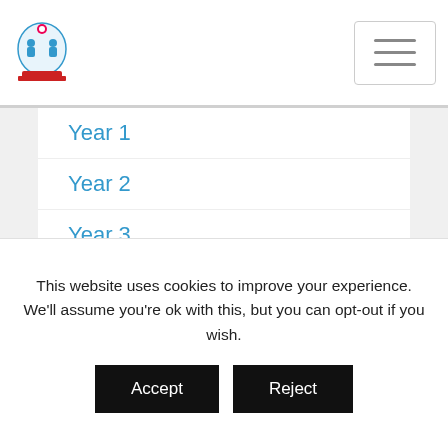School logo and navigation menu
Year 1
Year 2
Year 3
Year 4
Year 5
Year 6
Archives
This website uses cookies to improve your experience. We'll assume you're ok with this, but you can opt-out if you wish.